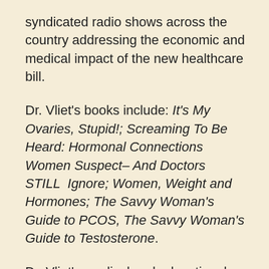syndicated radio shows across the country addressing the economic and medical impact of the new healthcare bill.
Dr. Vliet's books include: It's My Ovaries, Stupid!; Screaming To Be Heard: Hormonal Connections Women Suspect– And Doctors STILL  Ignore; Women, Weight and Hormones; The Savvy Woman's Guide to PCOS, The Savvy Woman's Guide to Testosterone.
Dr. Vliet's medical and educational website is www.HerPlace.com.  For more on healthcare, go to www.TakeBackMedicine.com